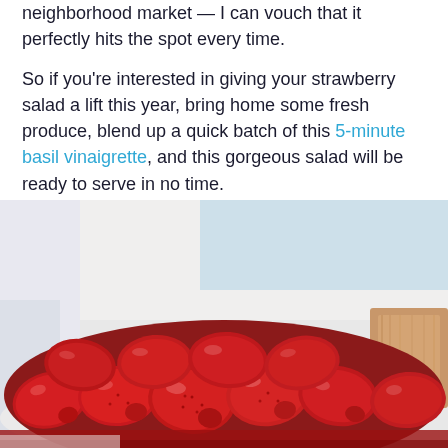neighborhood market — I can vouch that it perfectly hits the spot every time.

So if you're interested in giving your strawberry salad a lift this year, bring home some fresh produce, blend up a quick batch of this 5-minute basil vinaigrette, and this gorgeous salad will be ready to serve in no time.
[Figure (photo): Close-up photo of fresh red strawberries in what appears to be a white container or bowl, with a blurred light background and a wooden element visible on the right side.]